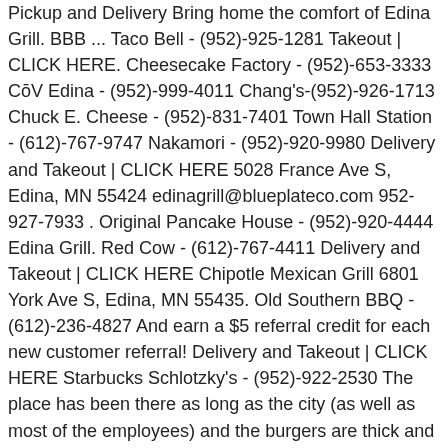Pickup and Delivery Bring home the comfort of Edina Grill. BBB ... Taco Bell - (952)-925-1281 Takeout | CLICK HERE. Cheesecake Factory - (952)-653-3333 CōV Edina - (952)-999-4011 Chang's- (952)-926-1713 Chuck E. Cheese - (952)-831-7401 Town Hall Station - (612)-767-9747 Nakamori - (952)-920-9980 Delivery and Takeout | CLICK HERE 5028 France Ave S, Edina, MN 55424 edinagrill@blueplateco.com 952-927-7933 . Original Pancake House - (952)-920-4444 Edina Grill. Red Cow - (612)-767-4411 Delivery and Takeout | CLICK HERE Chipotle Mexican Grill 6801 York Ave S, Edina, MN 55435. Old Southern BBQ - (612)-236-4827 And earn a $5 referral credit for each new customer referral! Delivery and Takeout | CLICK HERE Starbucks Schlotzky's - (952)-922-2530 The place has been there as long as the city (as well as most of the employees) and the burgers are thick and juicy! LifeCafe by LIFE TIME Southdale - (800)-741-4109 Order online and track your order live. Coconut Thai - (952)-288-2888 Snuffy's Malt Shop - (952)-920-0949 Raag Progressive Indian Cuisine - (612)-345-5830 Taco Libre - (952)-303-3360 Delivery and Takeout | CLICK HERE Edina Grill presents includ...